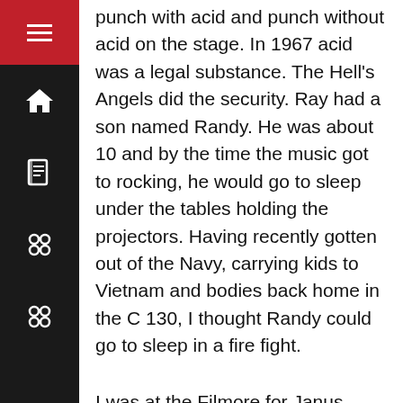punch with acid and punch without acid on the stage. In 1967 acid was a legal substance. The Hell's Angels did the security. Ray had a son named Randy. He was about 10 and by the time the music got to rocking, he would go to sleep under the tables holding the projectors. Having recently gotten out of the Navy, carrying kids to Vietnam and bodies back home in the C 130, I thought Randy could go to sleep in a fire fight.
I was at the Filmore for Janus Joplin with Big Brother and the Holding company